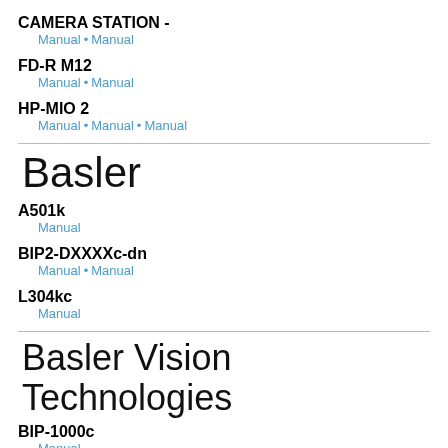CAMERA STATION -
Manual • Manual
FD-R M12
Manual • Manual
HP-MIO 2
Manual • Manual • Manual
Basler
A501k
Manual
BIP2-DXXXXc-dn
Manual • Manual
L304kc
Manual
Basler Vision Technologies
BIP-1000c
Manual